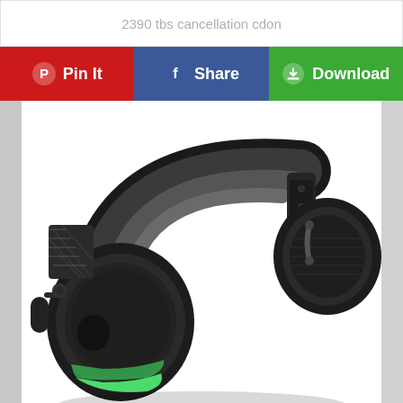2390 tbs cancellation cdon
[Figure (other): Social sharing buttons row: Pin It (red, Pinterest icon), Share (blue, Facebook icon), Download (green, download icon)]
[Figure (photo): Close-up photo of a black gaming headset (Turtle Beach style) with green accent trim on the ear cup, visible headband padding, microphone arm, and mesh fabric ear cushion. Shot from slight angle showing the headband arc and right ear cup detail.]